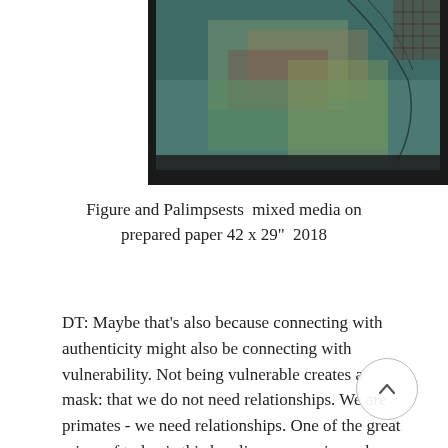[Figure (photo): Partial view of artwork titled Figure and Palimpsests, mixed media painting with green, brown, and reddish textures on prepared paper, showing abstract figures or forms with dark border framing.]
Figure and Palimpsests  mixed media on prepared paper 42 x 29"  2018
DT: Maybe that’s also because connecting with authenticity might also be connecting with vulnerability. Not being vulnerable creates a mask: that we do not need relationships. We are primates - we need relationships. One of the great crises of today is this loneliness, anomie, and alienation. Artists who thirst for relationship find a lot of richness in figurative drawing. It had a deep therapeutic connection to